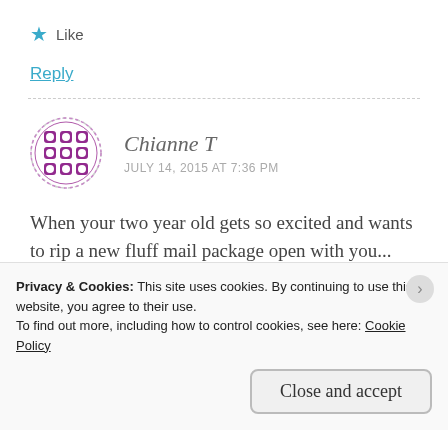★ Like
Reply
Chianne T
JULY 14, 2015 AT 7:36 PM
When your two year old gets so excited and wants to rip a new fluff mail package open with you... then wants to wear the diaper right away!
Privacy & Cookies: This site uses cookies. By continuing to use this website, you agree to their use.
To find out more, including how to control cookies, see here: Cookie Policy
Close and accept